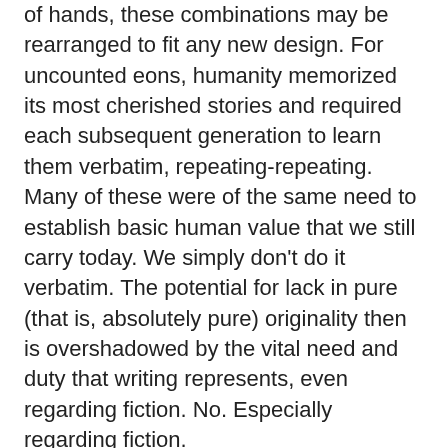of hands, these combinations may be rearranged to fit any new design. For uncounted eons, humanity memorized its most cherished stories and required each subsequent generation to learn them verbatim, repeating-repeating. Many of these were of the same need to establish basic human value that we still carry today. We simply don't do it verbatim. The potential for lack in pure (that is, absolutely pure) originality then is overshadowed by the vital need and duty that writing represents, even regarding fiction. No. Especially regarding fiction.
For the writer, then, the task becomes finding which story is most pressing in